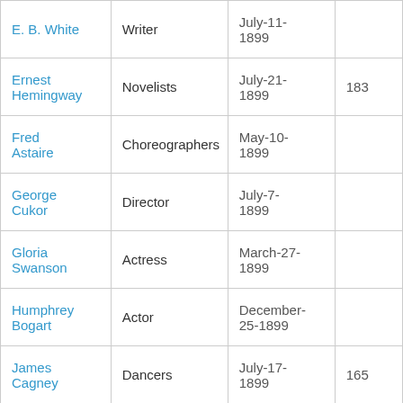| Name | Profession | Birth Date |  |
| --- | --- | --- | --- |
| E. B. White | Writer | July-11-1899 |  |
| Ernest Hemingway | Novelists | July-21-1899 | 183 |
| Fred Astaire | Choreographers | May-10-1899 |  |
| George Cukor | Director | July-7-1899 |  |
| Gloria Swanson | Actress | March-27-1899 |  |
| Humphrey Bogart | Actor | December-25-1899 |  |
| James Cagney | Dancers | July-17-1899 | 165 |